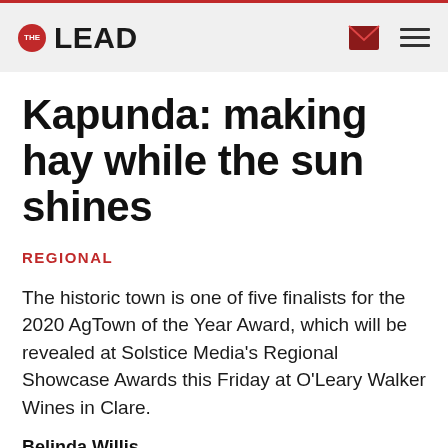THE LEAD
Kapunda: making hay while the sun shines
REGIONAL
The historic town is one of five finalists for the 2020 AgTown of the Year Award, which will be revealed at Solstice Media's Regional Showcase Awards this Friday at O'Leary Walker Wines in Clare.
Belinda Willis